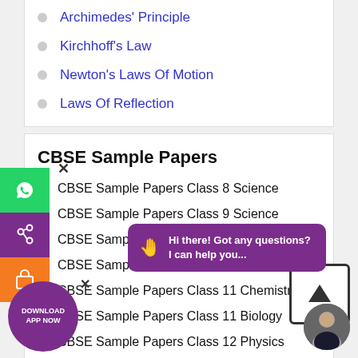Archimedes' Principle
Kirchhoff's Law
Newton's Laws Of Motion
Laws Of Reflection
CBSE Sample Papers
CBSE Sample Papers Class 8 Science
CBSE Sample Papers Class 9 Science
CBSE Sample Papers Class 10 Science
CBSE Sample Papers
CBSE Sample Papers Class 11 Chemistry
CBSE Sample Papers Class 11 Biology
CBSE Sample Papers Class 12 Physics
CBSE Sample Papers Class 12 Chemistry